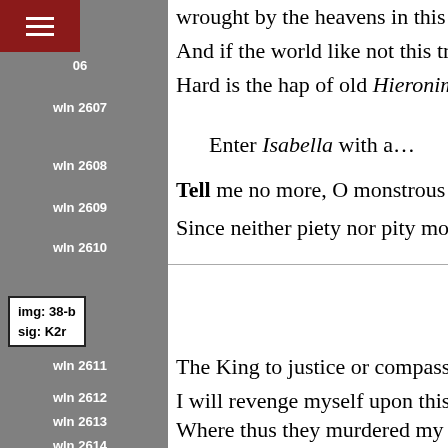wrought by the heavens in this confus…
And if the world like not this tragedy,
Hard is the hap of old Hieronimo.
Enter Isabella with a…
Tell me no more, O monstrous homici…
Since neither piety nor pity moves
img: 38-b
sig: K2r
The King to justice or compassion:
I will revenge myself upon this place,
Where thus they murdered my beloved…
Down with these branches and these lo…
Of blood, fortune, and foul injurie…